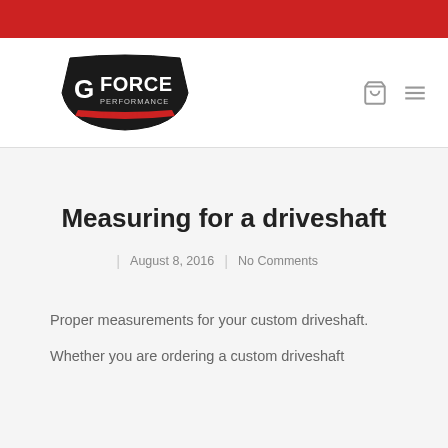[Figure (logo): G Force Performance Engineering logo — black badge shape with red and white text]
Measuring for a driveshaft
August 8, 2016  |  No Comments
Proper measurements for your custom driveshaft.
Whether you are ordering a custom driveshaft